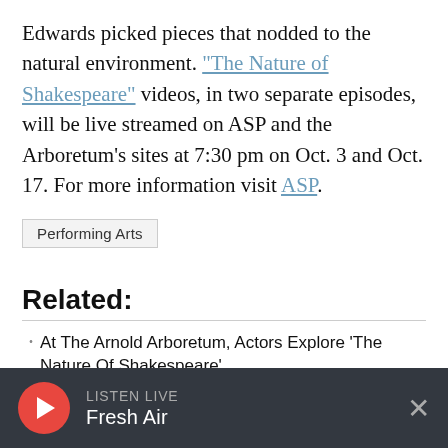Edwards picked pieces that nodded to the natural environment. "The Nature of Shakespeare" videos, in two separate episodes, will be live streamed on ASP and the Arboretum's sites at 7:30 pm on Oct. 3 and Oct. 17. For more information visit ASP.
Performing Arts
Related:
At The Arnold Arboretum, Actors Explore 'The Nature Of Shakespeare'
11 Art Exhibits To See (In Person) This Fall
LISTEN LIVE Fresh Air